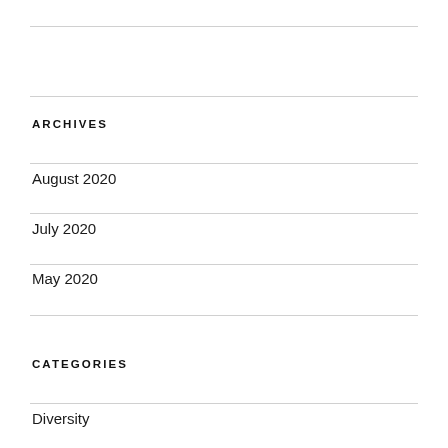ARCHIVES
August 2020
July 2020
May 2020
CATEGORIES
Diversity